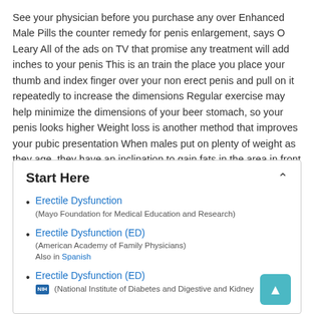See your physician before you purchase any over Enhanced Male Pills the counter remedy for penis enlargement, says O Leary All of the ads on TV that promise any treatment will add inches to your penis This is an train the place you place your thumb and index finger over your non erect penis and pull on it repeatedly to increase the dimensions Regular exercise may help minimize the dimensions of your beer stomach, so your penis looks higher Weight loss is another method that improves your pubic presentation When males put on plenty of weight as they age, they have an inclination to gain fats in the area in front of their genitals.
Start Here
Erectile Dysfunction (Mayo Foundation for Medical Education and Research)
Erectile Dysfunction (ED) (American Academy of Family Physicians) Also in Spanish
Erectile Dysfunction (ED) (National Institute of Diabetes and Digestive and Kidney